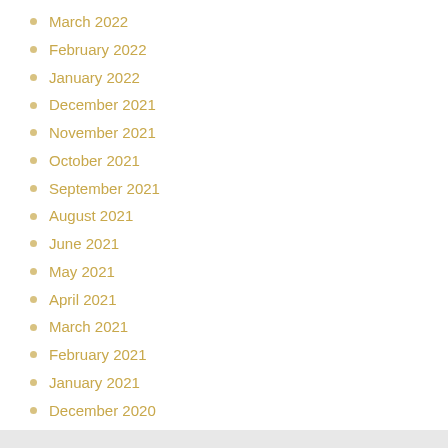March 2022
February 2022
January 2022
December 2021
November 2021
October 2021
September 2021
August 2021
June 2021
May 2021
April 2021
March 2021
February 2021
January 2021
December 2020
1  2  3  4  5  next ›  last »